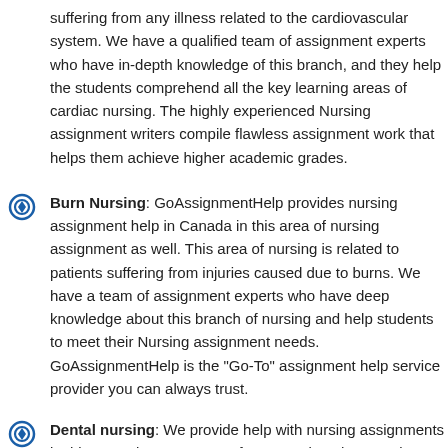suffering from any illness related to the cardiovascular system. We have a qualified team of assignment experts who have in-depth knowledge of this branch, and they help the students comprehend all the key learning areas of cardiac nursing. The highly experienced Nursing assignment writers compile flawless assignment work that helps them achieve higher academic grades.
Burn Nursing: GoAssignmentHelp provides nursing assignment help in Canada in this area of nursing assignment as well. This area of nursing is related to patients suffering from injuries caused due to burns. We have a team of assignment experts who have deep knowledge about this branch of nursing and help students to meet their Nursing assignment needs. GoAssignmentHelp is the "Go-To" assignment help service provider you can always trust.
Dental nursing: We provide help with nursing assignments in this area also. Our team of expert writers has good knowledge